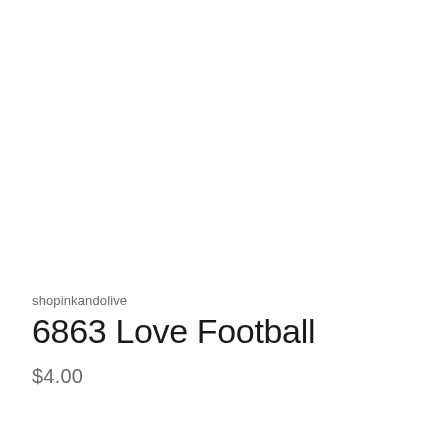shopinkandolive
6863 Love Football
$4.00